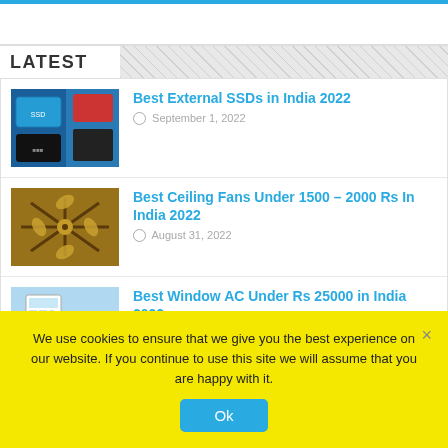LATEST
Best External SSDs in India 2022 — September 1, 2022
Best Ceiling Fans Under 1500 – 2000 Rs In India 2022 — August 31, 2022
Best Window AC Under Rs 25000 in India 2022 — August 21, 2022
We use cookies to ensure that we give you the best experience on our website. If you continue to use this site we will assume that you are happy with it.